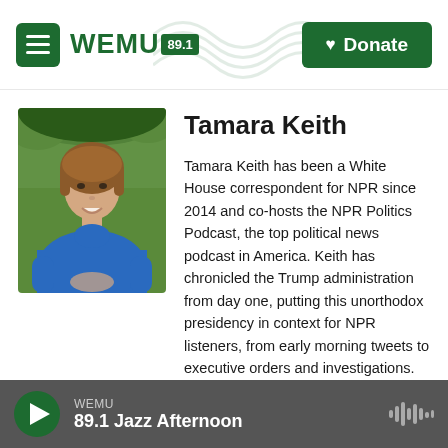WEMU 89.1 — Donate
Tamara Keith
[Figure (photo): Professional headshot of Tamara Keith, a woman with auburn hair wearing a blue top, photographed outdoors with foliage in the background]
Tamara Keith has been a White House correspondent for NPR since 2014 and co-hosts the NPR Politics Podcast, the top political news podcast in America. Keith has chronicled the Trump administration from day one, putting this unorthodox presidency in context for NPR listeners, from early morning tweets to executive orders and investigations. She covered the final two years of the Obama presidency, and during the 2016 presidential
WEMU 89.1 Jazz Afternoon